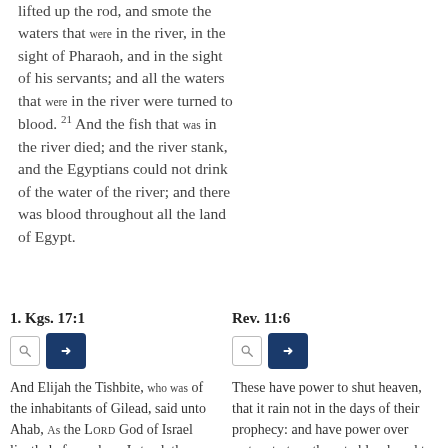lifted up the rod, and smote the waters that were in the river, in the sight of Pharaoh, and in the sight of his servants; and all the waters that were in the river were turned to blood. 21 And the fish that was in the river died; and the river stank, and the Egyptians could not drink of the water of the river; and there was blood throughout all the land of Egypt.
1. Kgs. 17:1
And Elijah the Tishbite, who was of the inhabitants of Gilead, said unto Ahab, As the LORD God of Israel liveth, before whom I stand, there shall not
Rev. 11:6
These have power to shut heaven, that it rain not in the days of their prophecy: and have power over waters to turn them to blood, and to smite the